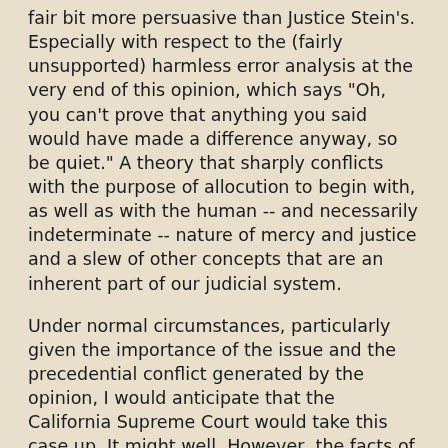fair bit more persuasive than Justice Stein's. Especially with respect to the (fairly unsupported) harmless error analysis at the very end of this opinion, which says "Oh, you can't prove that anything you said would have made a difference anyway, so be quiet." A theory that sharply conflicts with the purpose of allocution to begin with, as well as with the human -- and necessarily indeterminate -- nature of mercy and justice and a slew of other concepts that are an inherent part of our judicial system.
Under normal circumstances, particularly given the importance of the issue and the precedential conflict generated by the opinion, I would anticipate that the California Supreme Court would take this case up. It might well. However, the facts of this case are a little sloppy, and it could be much clearer than it is that the defendant really wanted to speak prior to -- as opposed to in the midst of -- sentencing.
For this reason, were I on the California Supreme Court, I might prefer to depublish, rather than review, this one. And think that others might as well. That's not usually my